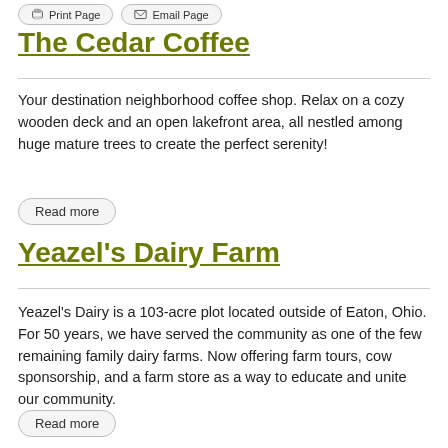Print Page | Email Page
The Cedar Coffee
Your destination neighborhood coffee shop. Relax on a cozy wooden deck and an open lakefront area, all nestled among huge mature trees to create the perfect serenity!
Read more
Yeazel's Dairy Farm
Yeazel's Dairy is a 103-acre plot located outside of Eaton, Ohio. For 50 years, we have served the community as one of the few remaining family dairy farms. Now offering farm tours, cow sponsorship, and a farm store as a way to educate and unite our community.
Read more
RDK Antiques & Collectibles